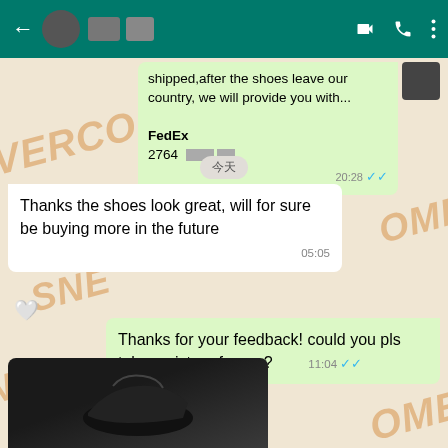[Figure (screenshot): WhatsApp chat screenshot showing a conversation about shoe purchase with FedEx tracking number, customer feedback message, and seller response]
shipped,after the shoes leave our country, we will provide you with...
FedEx
2764
20:28
今天
Thanks the shoes look great, will for sure be buying more in the future
05:05
Thanks for your feedback! could you pls take a picture for me?
11:04